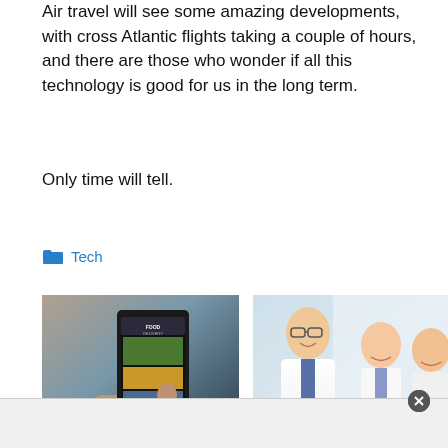Air travel will see some amazing developments, with cross Atlantic flights taking a couple of hours, and there are those who wonder if all this technology is good for us in the long term.
Only time will tell.
Tech
[Figure (photo): Person holding a smartphone displaying a food delivery app]
[Figure (photo): Group of smiling medical professionals in white coats with a laptop]